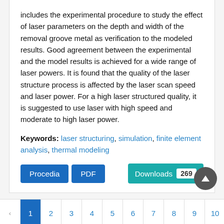includes the experimental procedure to study the effect of laser parameters on the depth and width of the removal groove metal as verification to the modeled results. Good agreement between the experimental and the model results is achieved for a wide range of laser powers. It is found that the quality of the laser structure process is affected by the laser scan speed and laser power. For a high laser structured quality, it is suggested to use laser with high speed and moderate to high laser power.
Keywords: laser structuring, simulation, finite element analysis, thermal modeling
Procedia  PDF  Downloads 269